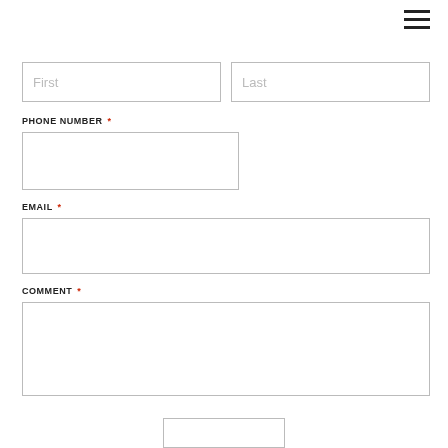[Figure (other): Hamburger menu icon (three horizontal lines) in top right corner]
First
Last
PHONE NUMBER *
EMAIL *
COMMENT *